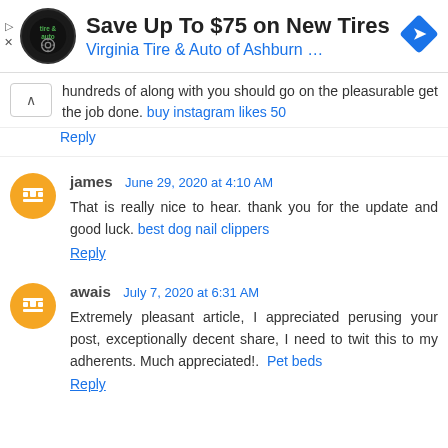[Figure (screenshot): Advertisement banner for Virginia Tire & Auto of Ashburn with logo, headline 'Save Up To $75 on New Tires', navigation arrow icon, and ad controls]
hundreds of along with you should go on the pleasurable get the job done. buy instagram likes 50
Reply
james  June 29, 2020 at 4:10 AM
That is really nice to hear. thank you for the update and good luck. best dog nail clippers
Reply
awais  July 7, 2020 at 6:31 AM
Extremely pleasant article, I appreciated perusing your post, exceptionally decent share, I need to twit this to my adherents. Much appreciated!.  Pet beds
Reply